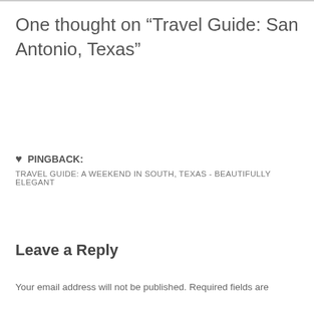One thought on “Travel Guide: San Antonio, Texas”
♥ PINGBACK:
TRAVEL GUIDE: A WEEKEND IN SOUTH, TEXAS - BEAUTIFULLY ELEGANT
Leave a Reply
Your email address will not be published. Required fields are